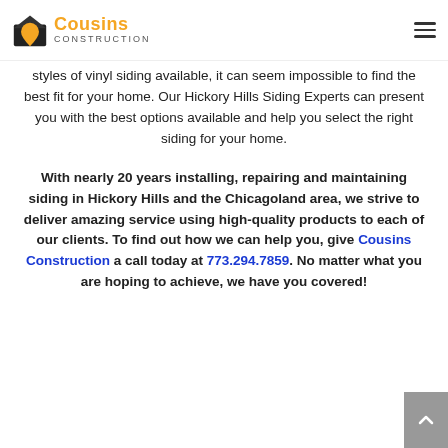Cousins Construction
styles of vinyl siding available, it can seem impossible to find the best fit for your home.  Our Hickory Hills Siding Experts can present you with the best options available and help you select the right siding for your home.
With nearly 20 years installing, repairing and maintaining siding in Hickory Hills and the Chicagoland area, we strive to deliver amazing service using high-quality products to each of our clients.  To find out how we can help you, give Cousins Construction a call today at 773.294.7859.  No matter what you are hoping to achieve, we have you covered!